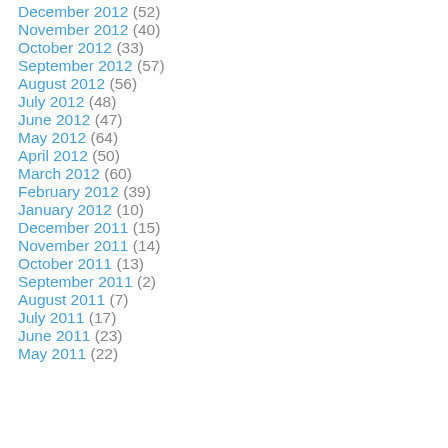December 2012 (52)
November 2012 (40)
October 2012 (33)
September 2012 (57)
August 2012 (56)
July 2012 (48)
June 2012 (47)
May 2012 (64)
April 2012 (50)
March 2012 (60)
February 2012 (39)
January 2012 (10)
December 2011 (15)
November 2011 (14)
October 2011 (13)
September 2011 (2)
August 2011 (7)
July 2011 (17)
June 2011 (23)
May 2011 (22)